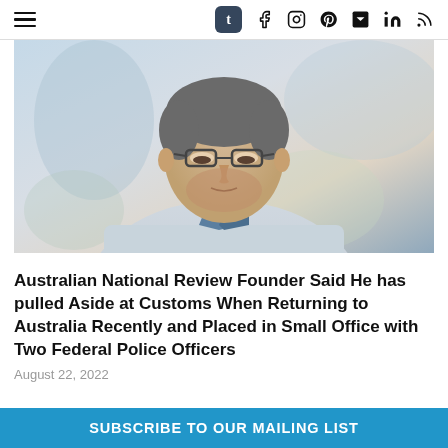t [tumblr icon] [facebook] [instagram] [telegram] [linkedin] [rss]
[Figure (photo): Middle-aged man with grey hair, glasses, and a light grey blazer over a blue shirt, looking downward, with a blurred outdoor background]
Australian National Review Founder Said He has pulled Aside at Customs When Returning to Australia Recently and Placed in Small Office with Two Federal Police Officers
August 22, 2022
SUBSCRIBE TO OUR MAILING LIST